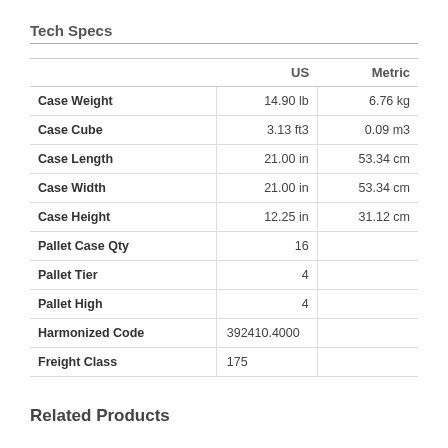Tech Specs
|  | US | Metric |
| --- | --- | --- |
| Case Weight | 14.90 lb | 6.76 kg |
| Case Cube | 3.13 ft3 | 0.09 m3 |
| Case Length | 21.00 in | 53.34 cm |
| Case Width | 21.00 in | 53.34 cm |
| Case Height | 12.25 in | 31.12 cm |
| Pallet Case Qty | 16 |  |
| Pallet Tier | 4 |  |
| Pallet High | 4 |  |
| Harmonized Code | 392410.4000 |  |
| Freight Class | 175 |  |
Related Products